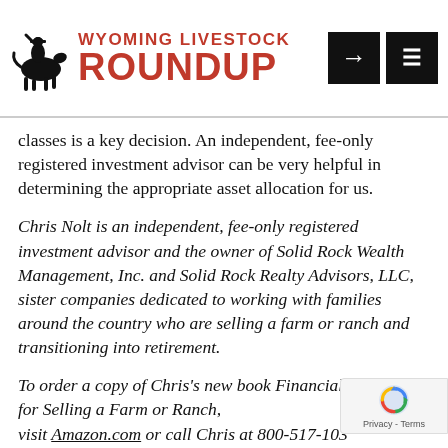Wyoming Livestock Roundup
classes is a key decision. An independent, fee-only registered investment advisor can be very helpful in determining the appropriate asset allocation for us.
Chris Nolt is an independent, fee-only registered investment advisor and the owner of Solid Rock Wealth Management, Inc. and Solid Rock Realty Advisors, LLC, sister companies dedicated to working with families around the country who are selling a farm or ranch and transitioning into retirement.
To order a copy of Chris's new book Financial Strategies for Selling a Farm or Ranch, visit Amazon.com or call Chris at 800-517-103 more information,